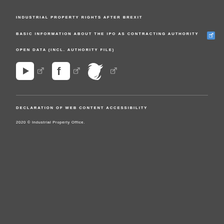INDUSTRIAL PROPERTY RIGHTS AFTER BREXIT
BASIC INFORMATION ABOUT THE IPO AS CONTRACTING AUTHORITY
OPEN DATA (INCL. AUTHORITY FILE)
[Figure (other): Social media icons: YouTube, Facebook, Twitter each with external link indicators]
DECLARATION OF WEB CONTENT ACCESSIBILITY
2020 © Industrial Property Office.